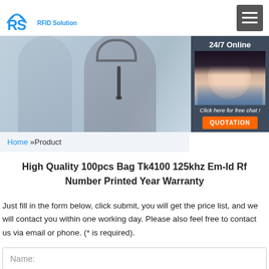[Figure (screenshot): RS RFID Solution logo with WiFi/signal icon and blue text]
[Figure (photo): Banner with two customer service agents wearing headsets, professional office setting. Right side shows a 24/7 Online panel with a female agent photo, 'Click here for free chat!' text, and an orange QUOTATION button.]
Home »Product
High Quality 100pcs Bag Tk4100 125khz Em-Id Rf Number Printed Year Warranty
Just fill in the form below, click submit, you will get the price list, and we will contact you within one working day. Please also feel free to contact us via email or phone. (* is required).
Name: